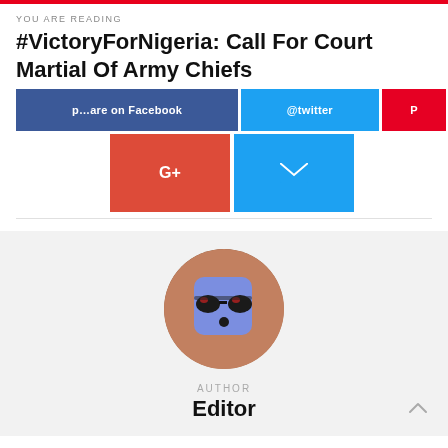YOU ARE READING
#VictoryForNigeria: Call For Court Martial Of Army Chiefs
[Figure (screenshot): Social sharing buttons: Facebook (blue), Twitter (light blue), Pinterest (red), Google+ (red-orange), Email (light blue)]
[Figure (photo): Author avatar: circular profile image with a cartoon blue square face emoji with sunglasses, brown circle background]
AUTHOR
Editor